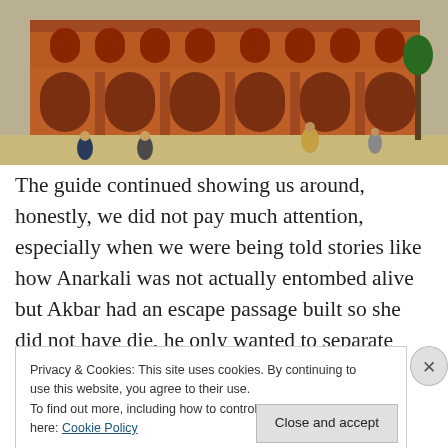[Figure (photo): Red sandstone Mughal architecture building with arched colonnades, visitors walking in courtyard in foreground]
The guide continued showing us around, honestly, we did not pay much attention, especially when we were being told stories like how Anarkali was not actually entombed alive but Akbar had an escape passage built so she did not have die, he only wanted to separate Salim and
Privacy & Cookies: This site uses cookies. By continuing to use this website, you agree to their use.
To find out more, including how to control cookies, see here: Cookie Policy
Close and accept